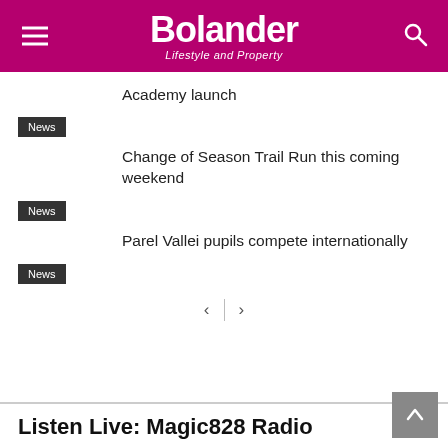Bolander – Lifestyle and Property
Academy launch
News
Change of Season Trail Run this coming weekend
News
Parel Vallei pupils compete internationally
News
< >
Listen Live: Magic828 Radio